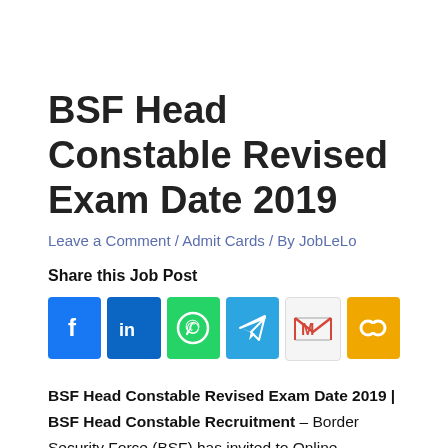BSF Head Constable Revised Exam Date 2019
Leave a Comment / Admit Cards / By JobLeLo
Share this Job Post
[Figure (infographic): Social share buttons: Facebook, LinkedIn, WhatsApp, Telegram, Gmail, Copy link]
BSF Head Constable Revised Exam Date 2019 | BSF Head Constable Recruitment – Border Security Force (BSF) has invited to Online Application Form for the Post of Head Constable HC in Radio.